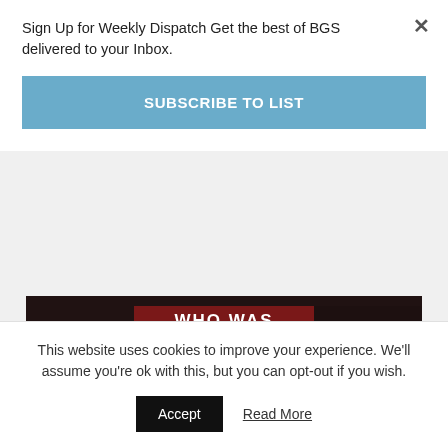Sign Up for Weekly Dispatch Get the best of BGS delivered to your Inbox.
SUBSCRIBE TO LIST
[Figure (photo): Dark banner image with text overlay reading 'WHO WAS' in red banner and 'MA RAINEY?' in large white letters]
There’s that great scene where they’re trying to record the kid with the stutter, and they’re throwing out all these ruined acetates, one
This website uses cookies to improve your experience. We'll assume you're ok with this, but you can opt-out if you wish.
Accept
Read More